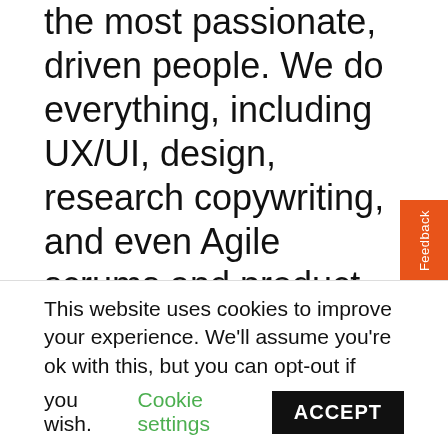the most passionate, driven people. We do everything, including UX/UI, design, research copywriting, and even Agile scrums and product ownership. Loving what you do as a designer does more than chart a successful career—it also influences people around you, and we want that same high energy and excitement in our everyday work and the educational pursuits of our personal passions. Not everyone understands the best practices or user psychology central to our practice; this is
This website uses cookies to improve your experience. We'll assume you're ok with this, but you can opt-out if you wish. Cookie settings ACCEPT